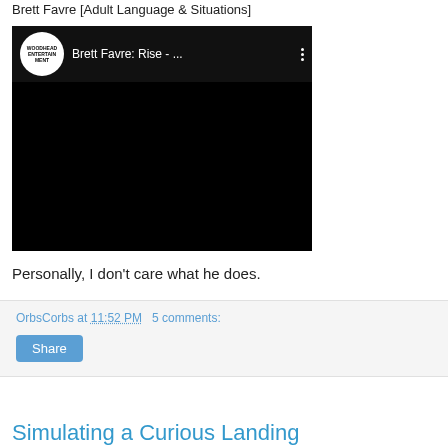Brett Favre [Adult Language & Situations]
[Figure (screenshot): Embedded YouTube video player showing 'Brett Favre: Rise - ...' with Woodhead Entertainment logo, black video area, and three-dot menu icon]
Personally, I don't care what he does.
OrbsCorbs at 11:52 PM   5 comments:
Share
Simulating a Curious Landing